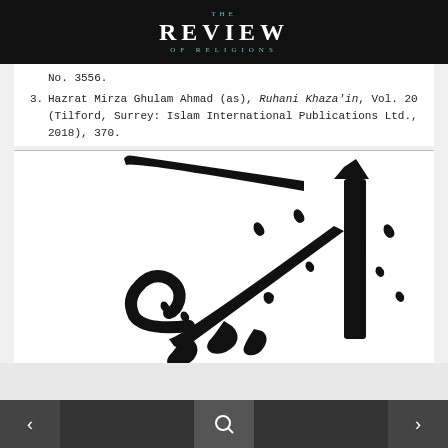THE REVIEW OF RELIGIONS
No. 3556.
3. Hazrat Mirza Ghulam Ahmad (as), Ruhani Khaza'in, Vol. 20 (Tilford, Surrey: Islam International Publications Ltd., 2018), 370.
[Figure (illustration): Large Arabic calligraphy in black ink on white background, showing stylized Arabic script characters.]
< [search icon] >